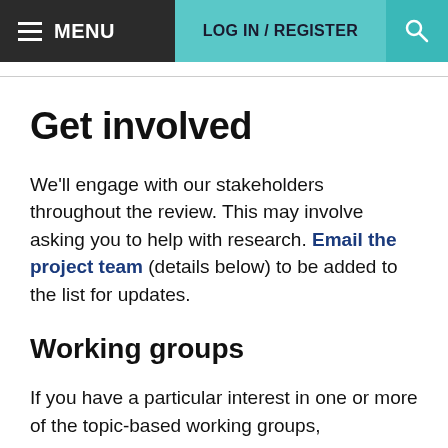≡ MENU | LOG IN / REGISTER | 🔍
Get involved
We'll engage with our stakeholders throughout the review. This may involve asking you to help with research. Email the project team (details below) to be added to the list for updates.
Working groups
If you have a particular interest in one or more of the topic-based working groups,